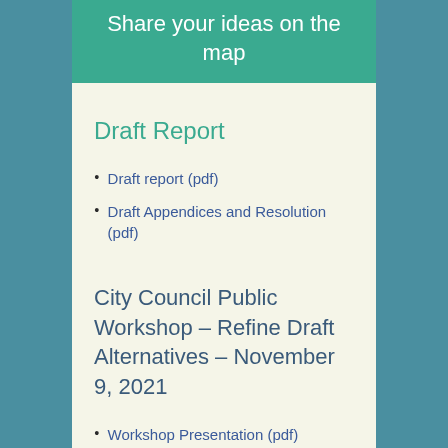[Figure (other): Teal banner with text 'Share your ideas on the map']
Draft Report
Draft report (pdf)
Draft Appendices and Resolution (pdf)
City Council Public Workshop  – Refine Draft Alternatives – November 9, 2021
Workshop Presentation (pdf)
Comment Sheet Responses (pdf)